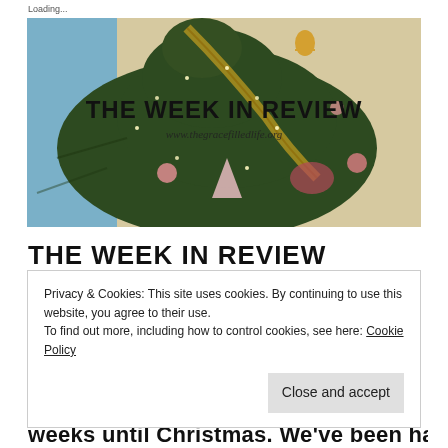Loading...
[Figure (photo): A decorated Christmas tree with ornaments, ribbons, and lights. Overlaid text reads 'THE WEEK IN REVIEW' in bold black letters, and below it 'www.thegracefilledlife.org' in cursive script.]
THE WEEK IN REVIEW
Privacy & Cookies: This site uses cookies. By continuing to use this website, you agree to their use.
To find out more, including how to control cookies, see here: Cookie Policy
Close and accept
weeks until Christmas. We've been having a